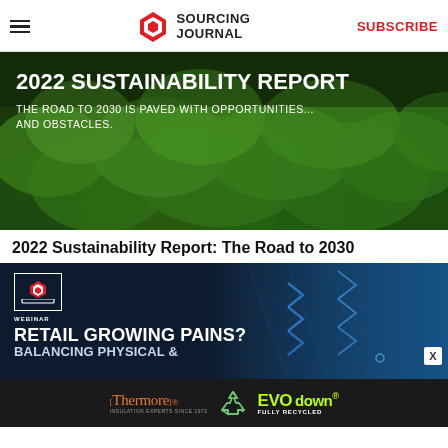SOURCING JOURNAL | SUBSCRIBE
[Figure (photo): Aerial view of dense green forest canopy with text overlay: '2022 SUSTAINABILITY REPORT - THE ROAD TO 2030 IS PAVED WITH OPPORTUNITIES... AND OBSTACLES.']
2022 Sustainability Report: The Road to 2030
[Figure (infographic): Dark navy blue webinar advertisement banner with Sourcing Journal laptop logo, chevron arrows graphic, text: 'RETAIL GROWING PAINS? BALANCING PHYSICAL &']
[Figure (logo): Bottom advertisement bar: Thermore INSULATION EXPERTS SINCE 1972 | recycle icon | EVO down FULLY RECYCLED]